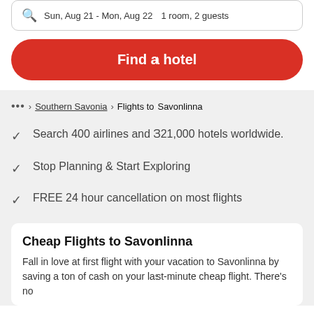Sun, Aug 21 - Mon, Aug 22  1 room, 2 guests
Find a hotel
... > Southern Savonia > Flights to Savonlinna
Search 400 airlines and 321,000 hotels worldwide.
Stop Planning & Start Exploring
FREE 24 hour cancellation on most flights
Cheap Flights to Savonlinna
Fall in love at first flight with your vacation to Savonlinna by saving a ton of cash on your last-minute cheap flight. There's no